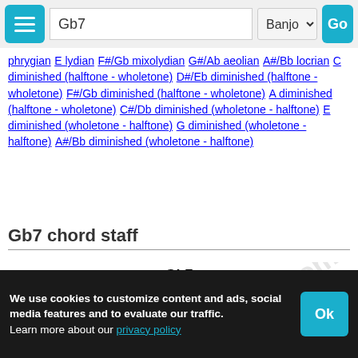Gb7 | Banjo | Go
phrygian E lydian F#/Gb mixolydian G#/Ab aeolian A#/Bb locrian C diminished (halftone - wholetone) D#/Eb diminished (halftone - wholetone) F#/Gb diminished (halftone - wholetone) A diminished (halftone - wholetone) C#/Db diminished (wholetone - halftone) E diminished (wholetone - halftone) G diminished (wholetone - halftone) A#/Bb diminished (wholetone - halftone)
Gb7 chord staff
[Figure (illustration): Musical staff showing Gb7 chord notation in treble clef with notes on the staff]
We use cookies to customize content and ads, social media features and to evaluate our traffic.
Learn more about our privacy policy